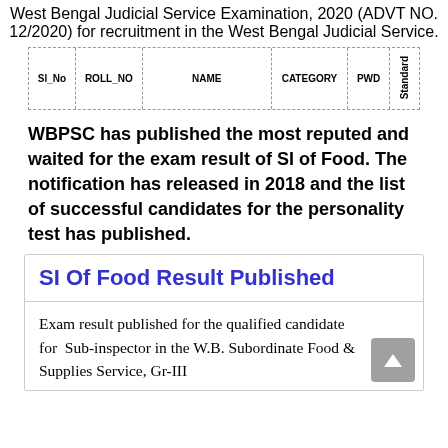West Bengal Judicial Service Examination, 2020 (ADVT NO. 12/2020) for recruitment in the West Bengal Judicial Service.
| Sl_No | ROLL_NO | NAME | CATEGORY | PWD | Standard |
| --- | --- | --- | --- | --- | --- |
WBPSC has published the most reputed and waited for the exam result of SI of Food. The notification has released in 2018 and the list of successful candidates for the personality test has published.
SI Of Food Result Published
Exam result published for the qualified candidate for Sub-inspector in the W.B. Subordinate Food & Supplies Service, Gr-III